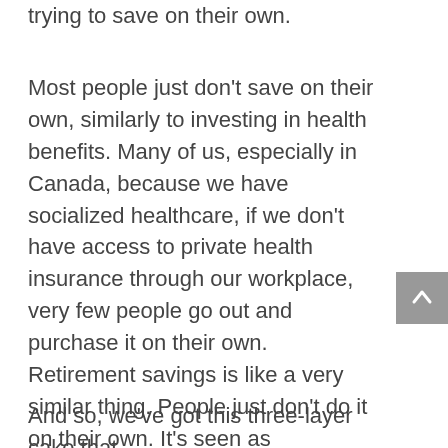trying to save on their own.
Most people just don't save on their own, similarly to investing in health benefits. Many of us, especially in Canada, because we have socialized healthcare, if we don't have access to private health insurance through our workplace, very few people go out and purchase it on their own. Retirement savings is like a very similar thing. People just don't do it on their own. It's seen as something that's done through your workplace, or not at all. So, it tends to be much more effective for Canadians, if it's offered through their place of work.
And so, we've got this three-layer cake that